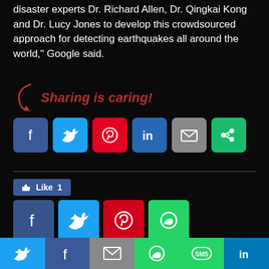disaster experts Dr. Richard Allen, Dr. Qingkai Kong and Dr. Lucy Jones to develop this crowdsourced approach for detecting earthquakes all around the world," Google said.
[Figure (infographic): Sharing is caring! social share buttons: Facebook, Twitter, Pinterest, LinkedIn, Email, More (green)]
[Figure (infographic): Facebook Like button showing count of 1, followed by share icon buttons: Facebook (dark blue), Twitter (light blue), Pinterest (red), WhatsApp (green)]
Previous article
Apple, Amazon, FB join battle against Trump's visa
Next article
Democrat Joe Biden picks U.S. Senator Kamala Harris
[Figure (infographic): Bottom share bar with Twitter, Facebook, Email, WhatsApp, SMS, LinkedIn icons]